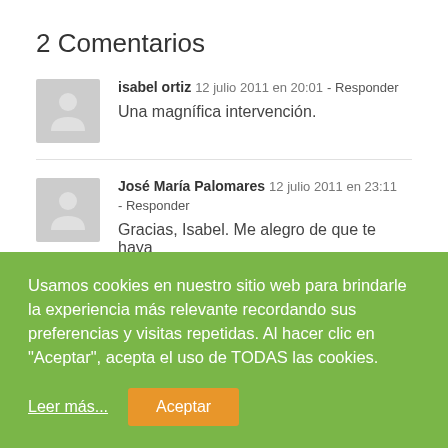2 Comentarios
isabel ortiz  12 julio 2011 en 20:01 - Responder
Una magnífica intervención.
José María Palomares  12 julio 2011 en 23:11 - Responder
Gracias, Isabel. Me alegro de que te haya
Usamos cookies en nuestro sitio web para brindarle la experiencia más relevante recordando sus preferencias y visitas repetidas. Al hacer clic en "Aceptar", acepta el uso de TODAS las cookies.
Leer más...
Aceptar